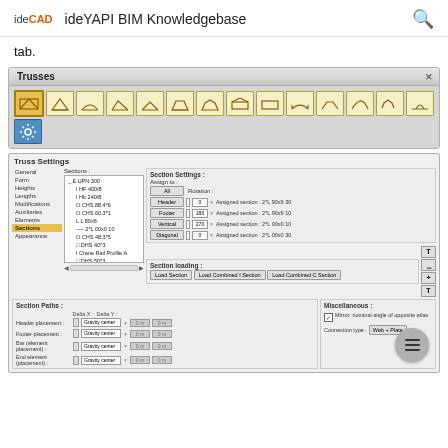ideCAD  ideYAPI BIM Knowledgebase
tab.
[Figure (screenshot): Trusses toolbar panel showing various truss shape icons]
[Figure (screenshot): Truss Settings dialog box with sections list, section settings, assign options, section paths, and miscellaneous settings]